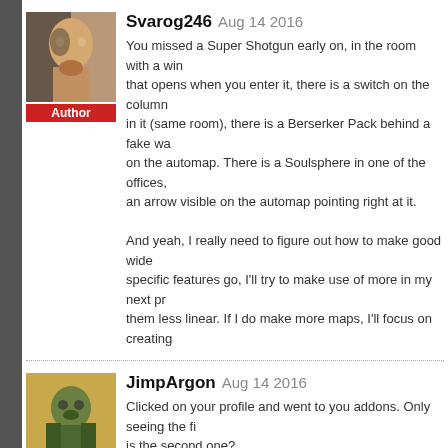[Figure (photo): Avatar image of Svarog246 - a fantasy character with dark and light split face]
Svarog246 Aug 14 2016
You missed a Super Shotgun early on, in the room with a window that opens when you enter it, there is a switch on the column in it (same room), there is a Berserker Pack behind a fake wall on the automap. There is a Soulsphere in one of the offices, an arrow visible on the automap pointing right at it.

And yeah, I really need to figure out how to make good wide specific features go, I'll try to make use of more in my next pr them less linear. If I do make more maps, I'll focus on creating
[Figure (photo): Avatar image of JimpArgon - a Doom marine character in green armor]
JimpArgon Aug 14 2016
Clicked on your profile and went to you addons. Only seeing the fi is the second one?
[Figure (photo): Avatar image of Svarog246 - same fantasy character]
Svarog246 Aug 14 2016
It was a learning experience for me more than it was a good detail.